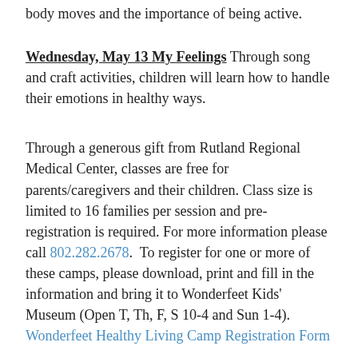body moves and the importance of being active.
Wednesday, May 13 My Feelings Through song and craft activities, children will learn how to handle their emotions in healthy ways.
Through a generous gift from Rutland Regional Medical Center, classes are free for parents/caregivers and their children. Class size is limited to 16 families per session and pre-registration is required. For more information please call 802.282.2678. To register for one or more of these camps, please download, print and fill in the information and bring it to Wonderfeet Kids' Museum (Open T, Th, F, S 10-4 and Sun 1-4). Wonderfeet Healthy Living Camp Registration Form